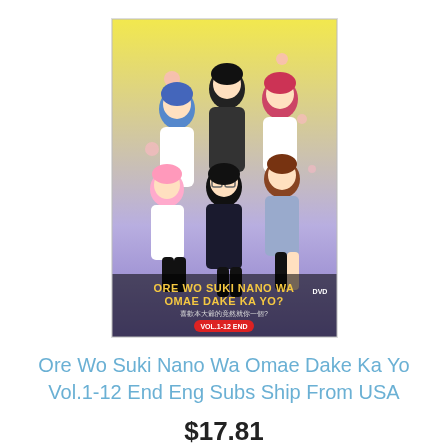[Figure (illustration): DVD cover art for 'Ore Wo Suki Nano Wa Omae Dake Ka Yo?' anime series Vol.1-12 End, showing multiple anime characters on a yellow and purple gradient background with the title text visible.]
Ore Wo Suki Nano Wa Omae Dake Ka Yo Vol.1-12 End Eng Subs Ship From USA
$17.81
$24.00